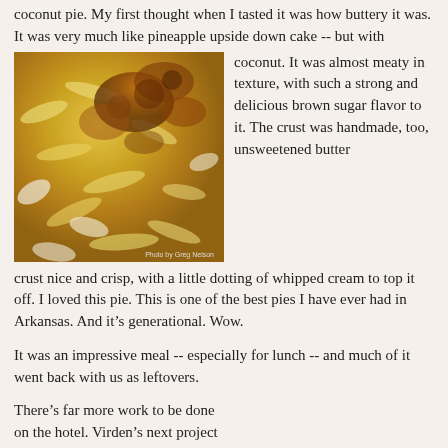coconut pie. My first thought when I tasted it was how buttery it was. It was very much like pineapple upside down cake -- but with coconut. It was almost meaty in texture, with such a strong and delicious brown sugar flavor to it. The crust was handmade, too, unsweetened butter crust nice and crisp, with a little dotting of whipped cream to top it off. I loved this pie. This is one of the best pies I have ever had in Arkansas. And it’s generational. Wow.
[Figure (photo): Close-up photo of coconut pie with golden brown caramelized topping, showing the texture of the coconut filling. Photo credit: Photo by Greg Nelson]
It was an impressive meal -- especially for lunch -- and much of it went back with us as leftovers.
There’s far more work to be done on the hotel. Virden’s next project is to complete the renovation of the Garden Room on the back of the first
[Figure (photo): Interior photo of a hotel room or hallway showing a pendant light and doorway with decorative stone or brick framing.]